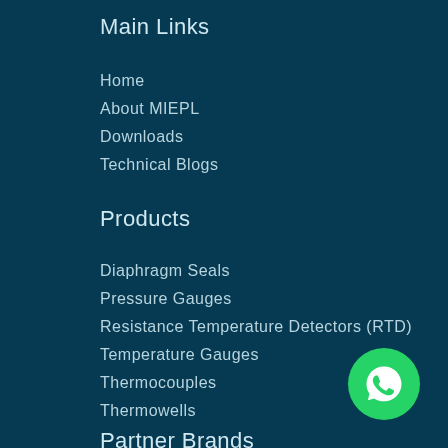Main Links
Home
About MIEPL
Downloads
Technical Blogs
Products
Diaphragm Seals
Pressure Gauges
Resistance Temperature Detectors (RTD)
Temperature Gauges
Thermocouples
Thermowells
Partner Brands
[Figure (illustration): WhatsApp contact button — green circle with white WhatsApp phone icon]